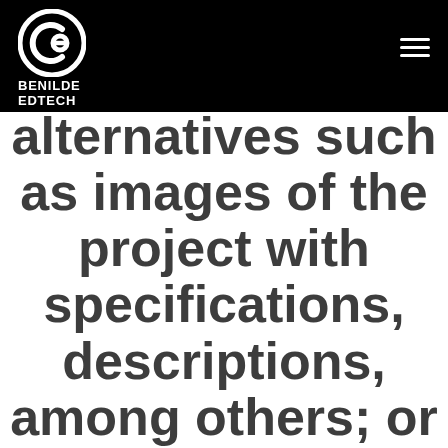[Figure (logo): Benilde EdTech logo — circular 'ce' monogram icon in white on black background, with text BENILDE EDTECH below in white bold capitals]
alternatives such as images of the project with specifications, descriptions, among others; or any other